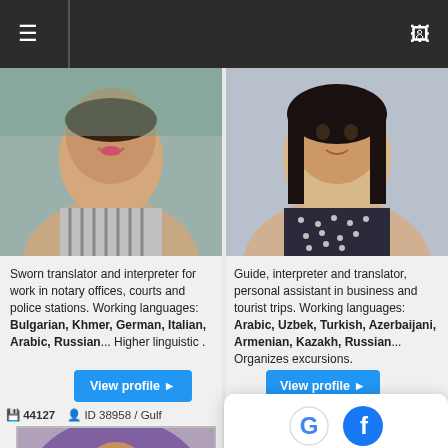Navigation bar with hamburger menu and monitor icon
[Figure (photo): Profile photo of a smiling woman in striped top]
Sworn translator and interpreter for work in notary offices, courts and police stations. Working languages: Bulgarian, Khmer, German, Italian, Arabic, Russian... Higher linguistic .
View profile ▶
[Figure (photo): Profile photo of a young woman in dark polka dot top]
Guide, interpreter and translator, personal assistant in business and tourist trips. Working languages: Arabic, Uzbek, Turkish, Azerbaijani, Armenian, Kazakh, Russian... Organizes excursions.
View profile ▶
44127  ID 38958 / Gulf
[Figure (photo): Profile photo of a woman wearing a colorful hijab]
Ask for price
[Figure (infographic): Overall Rating card showing Google and Facebook logos, rating 4.5 stars based on 50 reviews]
Overall Rating
4.5 ★★★★☆
Based on 50 reviews